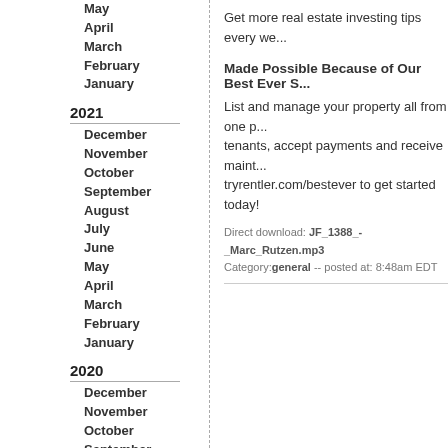May
April
March
February
January
2021
December
November
October
September
August
July
June
May
April
March
February
January
2020
December
November
October
September
August
July
June
May
April
March
February
January
Get more real estate investing tips every we...
Made Possible Because of Our Best Ever S...
List and manage your property all from one p... tenants, accept payments and receive maint... tryrentler.com/bestever to get started today!
Direct download: JF_1388_-_Marc_Rutzen.mp3
Category:general -- posted at: 8:48am EDT